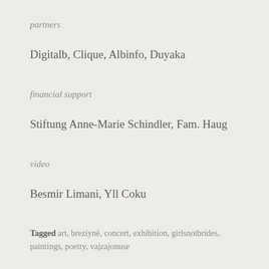partners
Digitalb, Clique, Albinfo, Duyaka
financial support
Stiftung Anne-Marie Schindler, Fam. Haug
video
Besmir Limani, Yll Coku
Tagged art, breziynë, concert, exhibition, girlsnotbrides, paintings, poetry, vajzajonuse